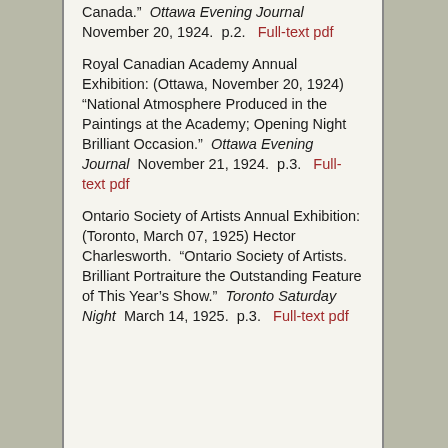Canada."  Ottawa Evening Journal  November 20, 1924.  p.2.  Full-text pdf
Royal Canadian Academy Annual Exhibition: (Ottawa, November 20, 1924) "National Atmosphere Produced in the Paintings at the Academy; Opening Night Brilliant Occasion."  Ottawa Evening Journal  November 21, 1924.  p.3.  Full-text pdf
Ontario Society of Artists Annual Exhibition: (Toronto, March 07, 1925) Hector Charlesworth.  "Ontario Society of Artists. Brilliant Portraiture the Outstanding Feature of This Year's Show."  Toronto Saturday Night  March 14, 1925.  p.3.  Full-text pdf